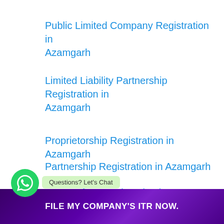Public Limited Company Registration in Azamgarh
Limited Liability Partnership Registration in Azamgarh
Proprietorship Registration in Azamgarh
Partnership Registration in Azamgarh
…tic… Registration in Azamgarh
FILE MY COMPANY'S ITR NOW.